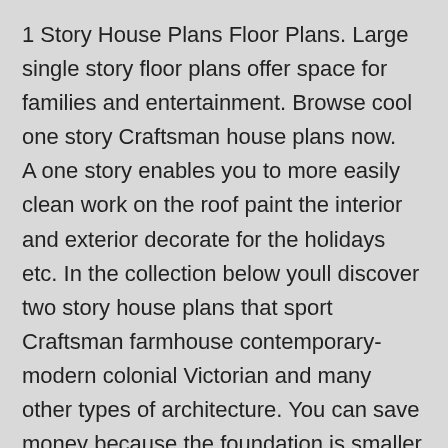1 Story House Plans Floor Plans. Large single story floor plans offer space for families and entertainment. Browse cool one story Craftsman house plans now.
A one story enables you to more easily clean work on the roof paint the interior and exterior decorate for the holidays etc. In the collection below youll discover two story house plans that sport Craftsman farmhouse contemporary-modern colonial Victorian and many other types of architecture. You can save money because the foundation is smaller than that of a similar size home on one level.
They are ideal for use by children who are about to embark on writing a story. Find 4 bedroom ranch home designs single story open layout farmhouses. Weve selected the very best ways to plan a story and many